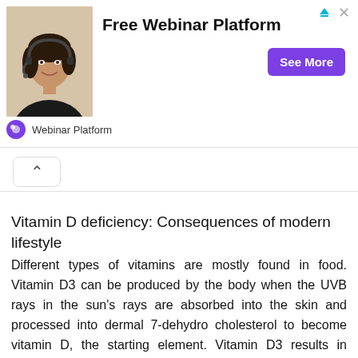[Figure (infographic): Advertisement banner for Free Webinar Platform showing a woman with headset, bold title text, a purple See More button, and the Webinar Platform brand logo at the bottom.]
Vitamin D deficiency: Consequences of modern lifestyle
Different types of vitamins are mostly found in food. Vitamin D3 can be produced by the body when the UVB rays in the sun's rays are absorbed into the skin and processed into dermal 7-dehydro cholesterol to become vitamin D, the starting element. Vitamin D3 results in vitamin D through biochemical actions in the liver and kidneys. Knowing this, it is clear that the nutrients in the diet alone are not enough to make vitamin D. In addition to the specific 7-dehydro